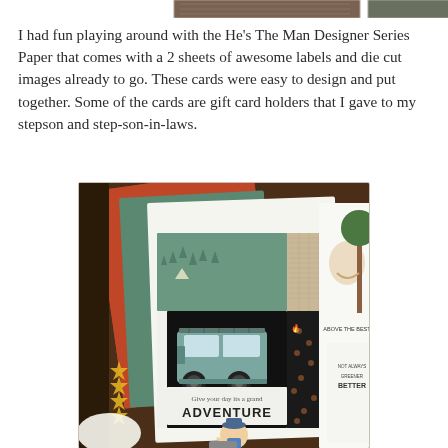[Figure (photo): Top partial strip showing two photos side by side, partially cropped at the top of the page]
I had fun playing around with the He's The Man Designer Series Paper that comes with a 2 sheets of awesome labels and die cut images already to go. These cards were easy to design and put together. Some of the cards are gift card holders that I gave to my stepson and step-son-in-laws.
[Figure (photo): Photo of multiple handmade greeting cards fanned out, featuring a card with a vintage VW van and text 'Give your day its grand ADVENTURE', cards with outdoor/camping themed Designer Series Paper in teal, black, and rust colors, and partial views of other cards with humor illustrations.]